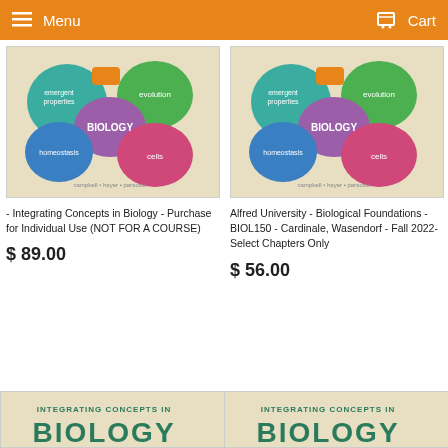Menu  Cart
[Figure (illustration): Biology textbook cover: colorful interlocking puzzle pieces labeled emergent properties, evolution, BIOLOGY, homeostasis, cells. Authors: campbell, hayer, paradise. Beige background.]
- Integrating Concepts in Biology - Purchase for Individual Use (NOT FOR A COURSE)
$ 89.00
[Figure (illustration): Biology textbook cover: colorful interlocking puzzle pieces labeled emergent properties, evolution, BIOLOGY, homeostasis, cells. Authors: campbell, hayer, paradise. Beige background.]
Alfred University - Biological Foundations - BIOL150 - Cardinale, Wasendorf - Fall 2022- Select Chapters Only
$ 56.00
[Figure (illustration): Bottom portion of Integrating Concepts in Biology textbook cover showing title text.]
[Figure (illustration): Bottom portion of Integrating Concepts in Biology textbook cover showing title text.]